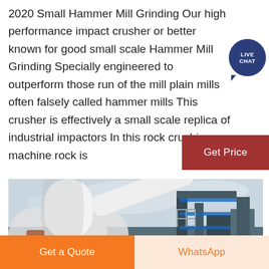2020 Small Hammer Mill Grinding Our high performance impact crusher or better known for good small scale Hammer Mill Grinding Specially engineered to outperform those run of the mill plain mills often falsely called hammer mills This crusher is effectively a small scale replica of industrial impactors In this rock crushing machine rock is
[Figure (other): Live Chat bubble icon — circular dark blue badge with LIVE CHAT text in white]
[Figure (other): Dark red Get Price button]
[Figure (photo): Industrial hammer mill or rock crushing plant with large white pipes, blue steel framework, and conveyor/dust collection structures against a cloudy sky]
Get a Quote
WhatsApp